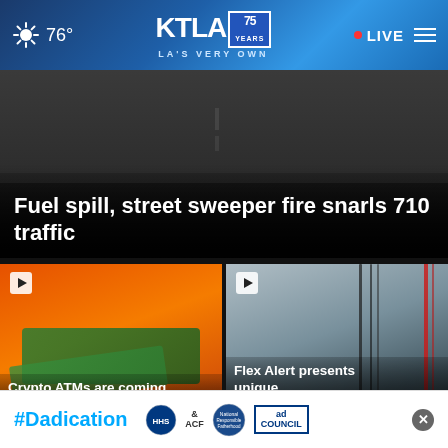KTLA 75 Years — LA'S VERY OWN | 76° | LIVE
[Figure (screenshot): Dark aerial road/highway scene at night]
Fuel spill, street sweeper fire snarls 710 traffic
[Figure (photo): Crypto ATM machine with cash/money bills, orange background]
Crypto ATMs are coming... threat to California
[Figure (photo): Car side mirror with cables, street scene reflection]
Flex Alert presents unique ... EV drivers
#Dadication